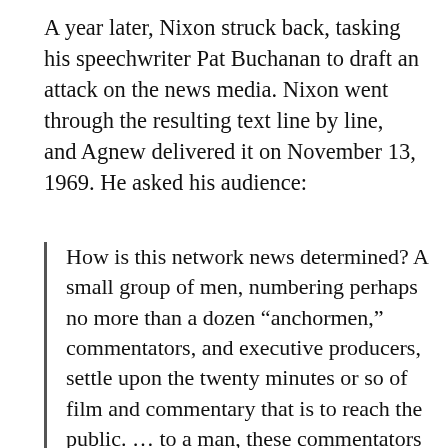A year later, Nixon struck back, tasking his speechwriter Pat Buchanan to draft an attack on the news media. Nixon went through the resulting text line by line, and Agnew delivered it on November 13, 1969. He asked his audience:
How is this network news determined? A small group of men, numbering perhaps no more than a dozen “anchormen,” commentators, and executive producers, settle upon the twenty minutes or so of film and commentary that is to reach the public. … to a man, these commentators and producers live and work in the geographical and intellectual confines of Washington, D.C., or New York City. …  The views of this fraternity